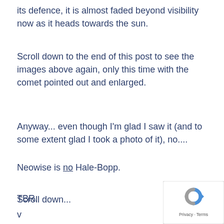its defence, it is almost faded beyond visibility now as it heads towards the sun.
Scroll down to the end of this post to see the images above again, only this time with the comet pointed out and enlarged.
Anyway... even though I'm glad I saw it (and to some extent glad I took a photo of it), no....
Neowise is no Hale-Bopp.
TBR.
Scroll down...
v
[Figure (logo): Google reCAPTCHA badge in bottom-right corner with Privacy and Terms text]